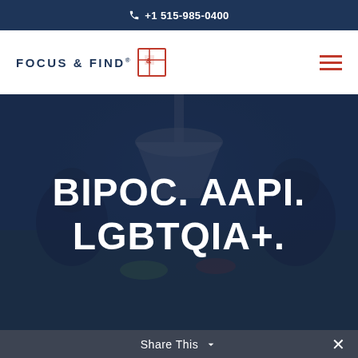+1 515-985-0400
[Figure (logo): Focus & Find logo with grid icon]
[Figure (photo): Dark blue overlay photo of people dining at a restaurant table under pendant lights]
BIPOC. AAPI. LGBTQIA+.
Share This